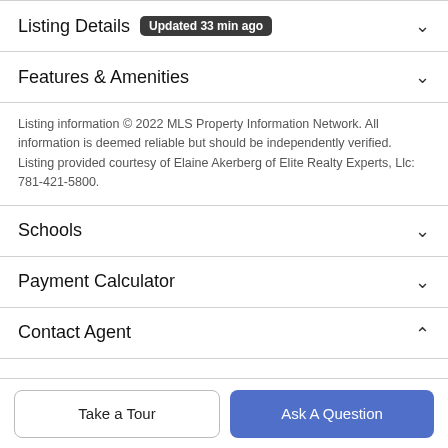Listing Details  Updated 33 min ago
Features & Amenities
Listing information © 2022 MLS Property Information Network. All information is deemed reliable but should be independently verified. Listing provided courtesy of Elaine Akerberg of Elite Realty Experts, Llc: 781-421-5800.
Schools
Payment Calculator
Contact Agent
Take a Tour
Ask A Question